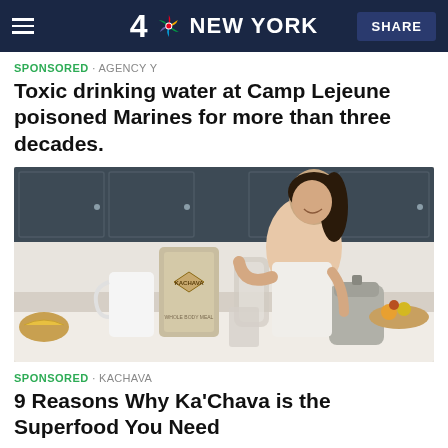4 NBC NEW YORK  SHARE
SPONSORED · AGENCY Y
Toxic drinking water at Camp Lejeune poisoned Marines for more than three decades.
[Figure (photo): Woman smiling and pouring a liquid from a glass pitcher into a glass on a kitchen counter, with a Kachava branded bag visible next to her and a electric kettle in the background.]
SPONSORED · KACHAVA
9 Reasons Why Ka'Chava is the Superfood You Need